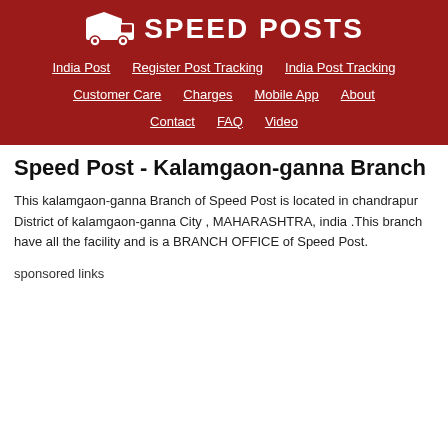SPEED POSTS
India Post | Register Post Tracking | India Post Tracking
Customer Care | Charges | Mobile App | About
Contact | FAQ | Video
Speed Post - Kalamgaon-ganna Branch
This kalamgaon-ganna Branch of Speed Post is located in chandrapur District of kalamgaon-ganna City , MAHARASHTRA, india .This branch have all the facility and is a BRANCH OFFICE of Speed Post.
sponsored links